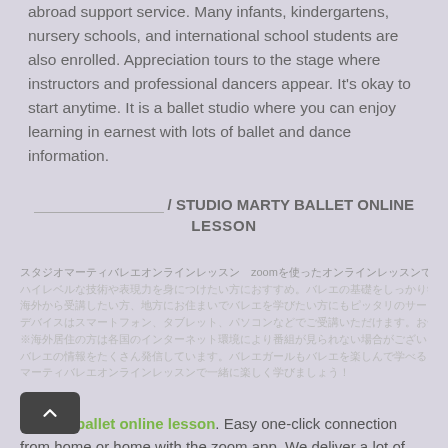abroad support service. Many infants, kindergartens, nursery schools, and international school students are also enrolled. Appreciation tours to the stage where instructors and professional dancers appear. It's okay to start anytime. It is a ballet studio where you can enjoy learning in earnest with lots of ballet and dance information.
[Japanese text] / STUDIO MARTY BALLET ONLINE LESSON
[Japanese body text describing zoom online lessons and ballet classes]
Marty's ballet online lesson. Easy one-click connection from home or home with the zoom app. We deliver a lot of live distribution, lesson